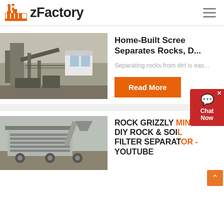zFactory
[Figure (photo): Industrial rock screening facility with large metal structures, conveyors, and a white building in the background]
Home-Built Screen Separates Rocks, D...
Separating rocks from dirt is eas...
Read More
[Figure (photo): Mobile rock grizzly separator machinery on an outdoor site]
ROCK GRIZZLY MINI DIY ROCK & SOIL FILTER SEPARATOR - YouTube